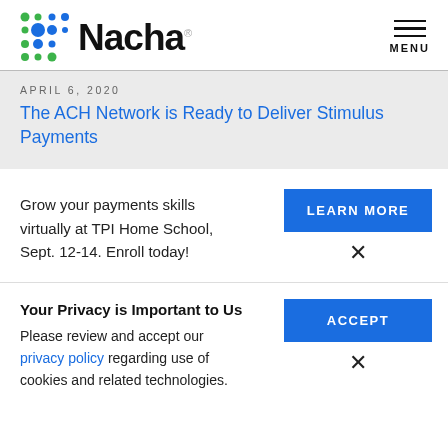[Figure (logo): Nacha logo with colorful dot grid pattern and the word Nacha]
MENU
APRIL 6, 2020
The ACH Network is Ready to Deliver Stimulus Payments
Grow your payments skills virtually at TPI Home School, Sept. 12-14. Enroll today!
LEARN MORE
Your Privacy is Important to Us
Please review and accept our privacy policy regarding use of cookies and related technologies.
ACCEPT